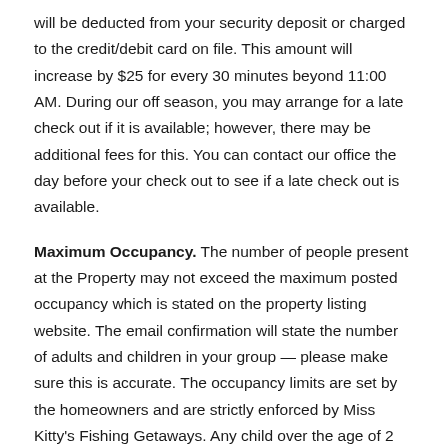will be deducted from your security deposit or charged to the credit/debit card on file. This amount will increase by $25 for every 30 minutes beyond 11:00 AM. During our off season, you may arrange for a late check out if it is available; however, there may be additional fees for this. You can contact our office the day before your check out to see if a late check out is available.
Maximum Occupancy. The number of people present at the Property may not exceed the maximum posted occupancy which is stated on the property listing website. The email confirmation will state the number of adults and children in your group — please make sure this is accurate. The occupancy limits are set by the homeowners and are strictly enforced by Miss Kitty's Fishing Getaways. Any child over the age of 2 years old will be considered as an occupant and